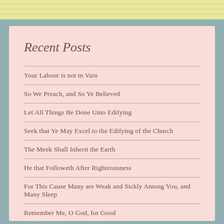Recent Posts
Your Labour is not in Vain
So We Preach, and So Ye Believed
Let All Things Be Done Unto Edifying
Seek that Ye May Excel to the Edifying of the Church
The Meek Shall Inherit the Earth
He that Followeth After Righteousness
For This Cause Many are Weak and Sickly Among You, and Many Sleep
Remember Me, O God, for Good